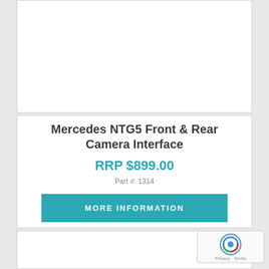[Figure (photo): Product image area - white box with product photo (mostly white/blank area visible)]
Mercedes NTG5 Front & Rear Camera Interface
RRP $899.00
Part #: 1314
MORE INFORMATION